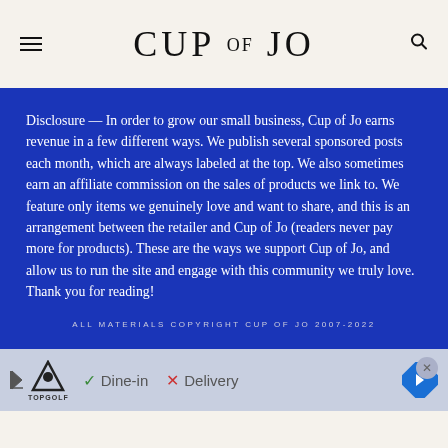CUP OF JO
Disclosure — In order to grow our small business, Cup of Jo earns revenue in a few different ways. We publish several sponsored posts each month, which are always labeled at the top. We also sometimes earn an affiliate commission on the sales of products we link to. We feature only items we genuinely love and want to share, and this is an arrangement between the retailer and Cup of Jo (readers never pay more for products). These are the ways we support Cup of Jo, and allow us to run the site and engage with this community we truly love. Thank you for reading!
ALL MATERIALS COPYRIGHT CUP OF JO 2007-2022
[Figure (infographic): Advertisement banner for TopGolf showing Dine-in (checkmark) and Delivery (X) options with a navigation arrow icon]